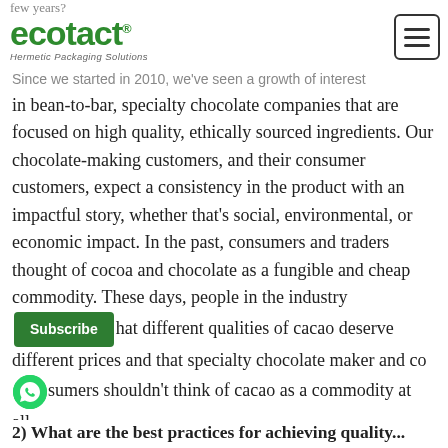few years?
[Figure (logo): Ecotact logo with green text and 'Hermetic Packaging Solutions' subtitle, and hamburger menu button on right]
Since we started in 2010, we've seen a growth of interest in bean-to-bar, specialty chocolate companies that are focused on high quality, ethically sourced ingredients. Our chocolate-making customers, and their consumer customers, expect a consistency in the product with an impactful story, whether that's social, environmental, or economic impact. In the past, consumers and traders thought of cocoa and chocolate as a fungible and cheap commodity. These days, people in the industry [Subscribe button] hat different qualities of cacao deserve different prices and that specialty chocolate maker and co[whatsapp icon]sumers shouldn't think of cacao as a commodity at all.
2) What are the best practices for achieving quality...